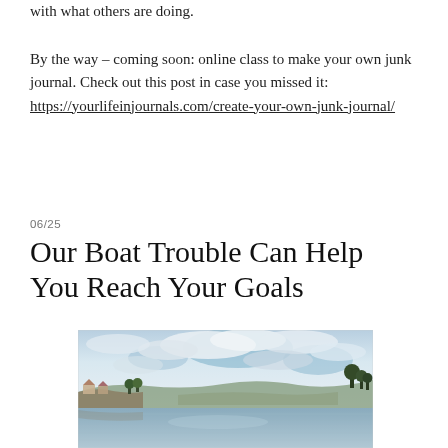with what others are doing.
By the way – coming soon: online class to make your own junk journal. Check out this post in case you missed it: https://yourlifeinjournals.com/create-your-own-junk-journal/
06/25
Our Boat Trouble Can Help You Reach Your Goals
[Figure (photo): A scenic lake or bay with calm water reflecting the cloudy sky. A small marina or lakeside community with houses and trees is visible on the left shore, and wooded hills line the distant shoreline. The sky is partly cloudy with blue patches.]